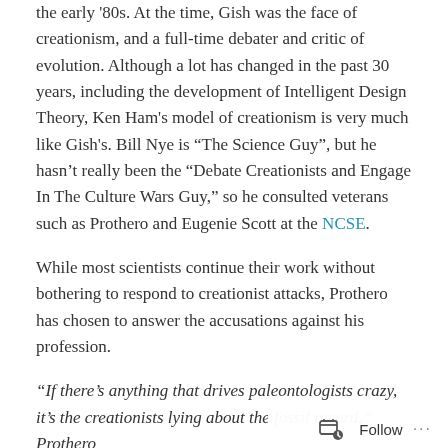the early '80s. At the time, Gish was the face of creationism, and a full-time debater and critic of evolution. Although a lot has changed in the past 30 years, including the development of Intelligent Design Theory, Ken Ham's model of creationism is very much like Gish's. Bill Nye is “The Science Guy”, but he hasn’t really been the “Debate Creationists and Engage In The Culture Wars Guy,” so he consulted veterans such as Prothero and Eugenie Scott at the NCSE.
While most scientists continue their work without bothering to respond to creationist attacks, Prothero has chosen to answer the accusations against his profession.
“If there’s anything that drives paleontologists crazy, it’s the creationists lying about the fossil record,” Prothero